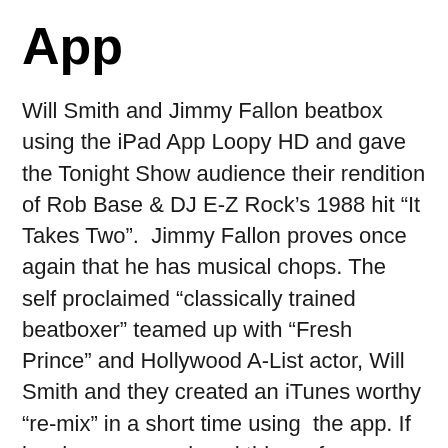App
Will Smith and Jimmy Fallon beatbox using the iPad App Loopy HD and gave the Tonight Show audience their rendition of Rob Base & DJ E-Z Rock’s 1988 hit “It Takes Two”.  Jimmy Fallon proves once again that he has musical chops. The self proclaimed “classically trained beatboxer” teamed up with “Fresh Prince” and Hollywood A-List actor, Will Smith and they created an iTunes worthy “re-mix” in a short time using  the app. If by chance you missed this performance, that’s why I’m here for you (lol), this was definitely “must-see TV!”
They did a “recorded layering” of beatbox beats.  I’m pretty sure they rehearsed this, but